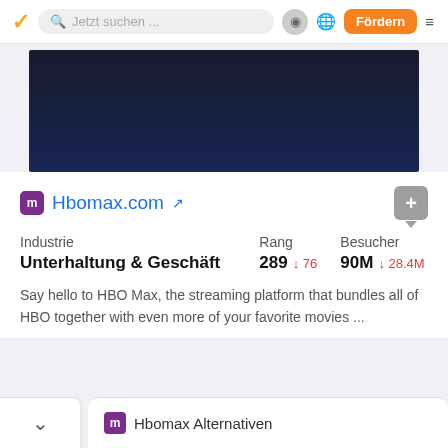Jetzt suchen ... | Fördern
[Figure (screenshot): Dark hero image with gradient from navy to dark blue]
m Hbomax.com [external link]
| Industrie | Rang | Besucher |
| --- | --- | --- |
| Unterhaltung & Geschäft | 289 ↓76 | 90M ↓28.4M |
Say hello to HBO Max, the streaming platform that bundles all of HBO together with even more of your favorite movies ...
m Hbomax Alternativen